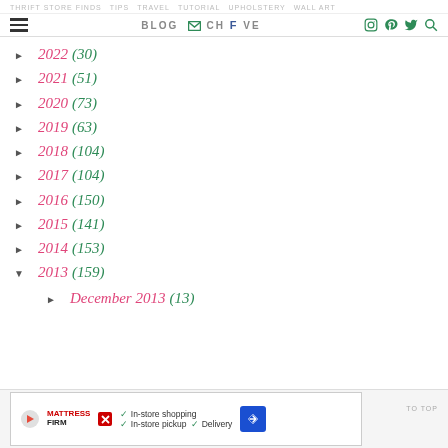THRIFT STORE FINDS  TIPS  TRAVEL  TUTORIAL  UPHOLSTERY  WALL ART | BLOG ARCHIVE [icons]
► 2022 (30)
► 2021 (51)
► 2020 (73)
► 2019 (63)
► 2018 (104)
► 2017 (104)
► 2016 (150)
► 2015 (141)
► 2014 (153)
▼ 2013 (159)
► December 2013 (13)
TO TOP | Ad: Mattress Firm — In-store shopping, In-store pickup, Delivery